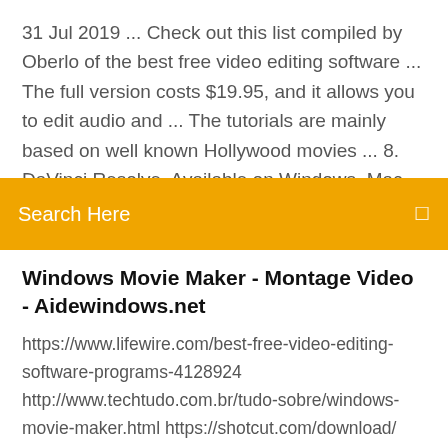31 Jul 2019 ... Check out this list compiled by Oberlo of the best free video editing software ... The full version costs $19.95, and it allows you to edit audio and ... The tutorials are mainly based on well known Hollywood movies ... 8. DaVinci Resolve. Available on Windows, Mac, and Linux. DaVinci .... Anchor Video
Search Here
Windows Movie Maker - Montage Video - Aidewindows.net
https://www.lifewire.com/best-free-video-editing-software-programs-4128924 http://www.techtudo.com.br/tudo-sobre/windows-movie-maker.html https://shotcut.com/download/ http://loadsafesoft.com/windows-movie-maker-for-windows-8.1-64-bit/ https://www.cyberlink.com/downloads/trials/powerdirector-video-editing-software/download_en_EU.html